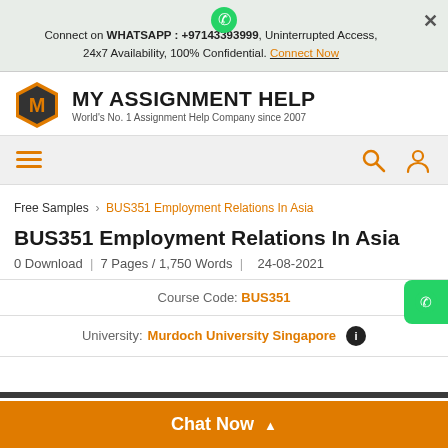Connect on WHATSAPP : +97143393999, Uninterrupted Access, 24x7 Availability, 100% Confidential. Connect Now
[Figure (logo): My Assignment Help logo with orange hexagon M icon and text MY ASSIGNMENT HELP, World's No. 1 Assignment Help Company since 2007]
[Figure (other): Navigation bar with hamburger menu icon in orange on left, search and user icons on right]
Free Samples   BUS351 Employment Relations In Asia
BUS351 Employment Relations In Asia
0 Download | 7 Pages / 1,750 Words | 24-08-2021
Course Code: BUS351
University: Murdoch University Singapore
Chat Now